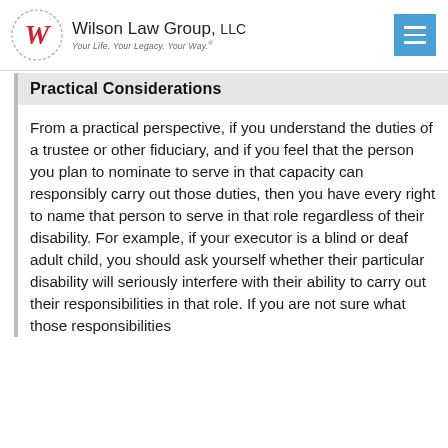Wilson Law Group, LLC — Your Life. Your Legacy. Your Way.
Practical Considerations
From a practical perspective, if you understand the duties of a trustee or other fiduciary, and if you feel that the person you plan to nominate to serve in that capacity can responsibly carry out those duties, then you have every right to name that person to serve in that role regardless of their disability. For example, if your executor is a blind or deaf adult child, you should ask yourself whether their particular disability will seriously interfere with their ability to carry out their responsibilities in that role. If you are not sure what those responsibilities